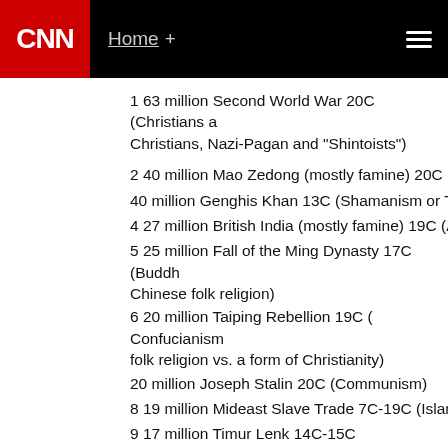CNN | Home +
1 63 million Second World War 20C (Christians a... Christians, Nazi-Pagan and "Shintoists")
2 40 million Mao Zedong (mostly famine) 20C (C...
40 million Genghis Khan 13C (Shamanism or Ten...
4 27 million British India (mostly famine) 19C (An...
5 25 million Fall of the Ming Dynasty 17C (Buddh... Chinese folk religion)
6 20 million Taiping Rebellion 19C ( Confucianism... folk religion vs. a form of Christianity)
20 million Joseph Stalin 20C (Communism)
8 19 million Mideast Slave Trade 7C-19C (Islam)
9 17 million Timur Lenk 14C-15C
10 16 million Atlantic Slave Trade 15C-19C (Chris...
11 15 million First World War 20C (Christians vs. ...
15 million Conquest of the Americas 15C-19C (Ch...
13 13 million Muslim Conquest of India 11C-18C
14 10 million An Lushan Revolt 8C
10 million Xin Dynasty 1C